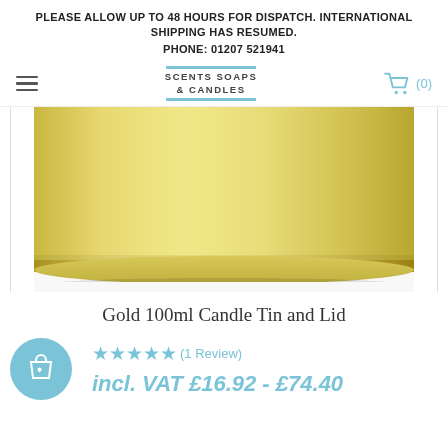PLEASE ALLOW UP TO 48 HOURS FOR DISPATCH. INTERNATIONAL SHIPPING HAS RESUMED.
PHONE: 01207 521941
[Figure (logo): Scents Soaps & Candles store logo with light blue horizontal bars above and below text]
[Figure (photo): Gold cylindrical 100ml candle tin with lid, photographed on white background, showing the bottom/base of the tin]
Gold 100ml Candle Tin and Lid
★★★★★ (1 Review)
incl. VAT £16.92 - £74.40